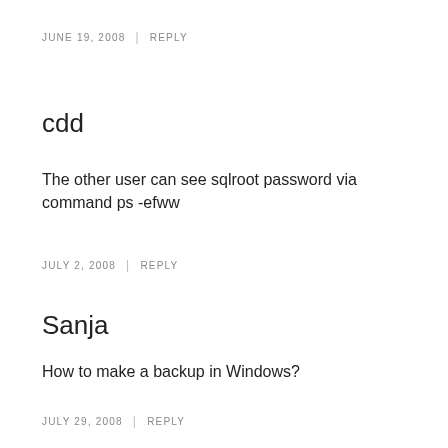JUNE 19, 2008 | REPLY
cdd
The other user can see sqlroot password via command ps -efww
JULY 2, 2008 | REPLY
Sanja
How to make a backup in Windows?
JULY 29, 2008 | REPLY